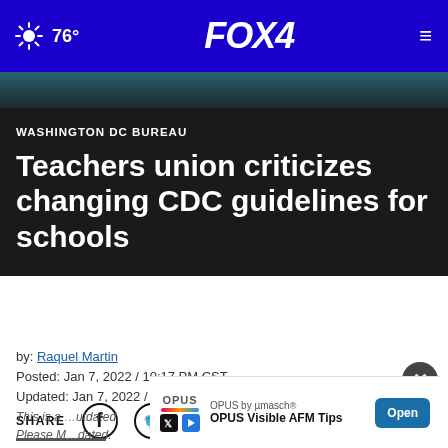FOX 4  76°
[Figure (screenshot): Dark image bar showing a partial photo behind article header]
WASHINGTON DC BUREAU
Teachers union criticizes changing CDC guidelines for schools
by: Raquel Martin
Posted: Jan 7, 2022 / 10:17 PM CST
Updated: Jan 7, 2022 / 10:17 PM CST
SHARE
[Figure (infographic): OPUS by µmasch® OPUS Visible AFM Tips advertisement with Open button]
This is a ...utdated.
Please M... dated.